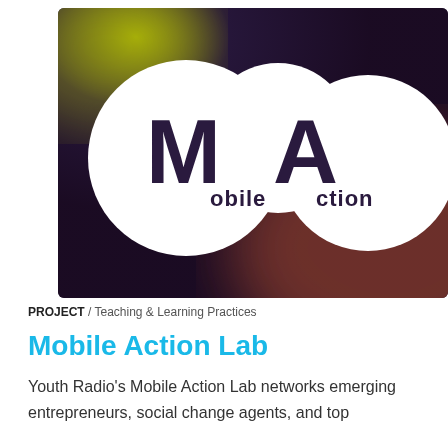[Figure (logo): Mobile Action Lab logo — dark purple/maroon gradient background with yellow-green top-left glow. Three overlapping white circles form a cloud-like shape. Inside: stylized 'M' letterform on the left circle, stylized 'A' in the center circle, and the text 'obile Action' completing the name 'Mobile Action' in a retro blocky font across the circles.]
PROJECT / Teaching & Learning Practices
Mobile Action Lab
Youth Radio's Mobile Action Lab networks emerging entrepreneurs, social change agents, and top